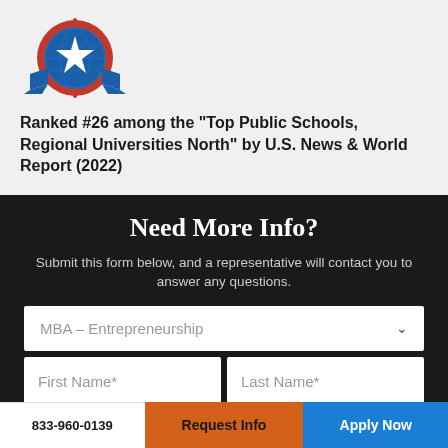[Figure (logo): Award badge with blue globe, white star, red and blue ribbons — university ranking medal]
Ranked #26 among the “Top Public Schools, Regional Universities North” by U.S. News & World Report (2022)
Need More Info?
Submit this form below, and a representative will contact you to answer any questions.
MBA – Entrepreneurship
First Name*
Last Name*
Email*
833-960-0139   Request Info   Apply Now